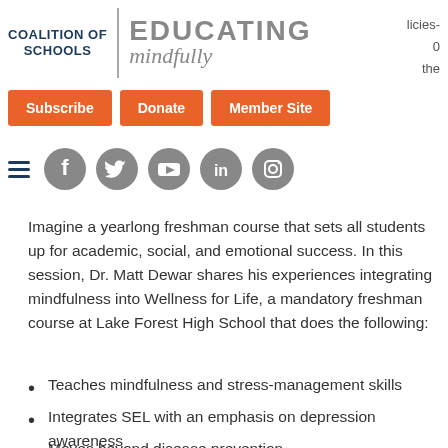[Figure (logo): Coalition of Schools | Educating Mindfully logo with text and divider]
licies- 0 the
[Figure (infographic): Navigation buttons: Subscribe, Donate, Member Site (orange buttons) and social media icons: Facebook, Twitter, YouTube, LinkedIn, Instagram]
Imagine a yearlong freshman course that sets all students up for academic, social, and emotional success. In this session, Dr. Matt Dewar shares his experiences integrating mindfulness into Wellness for Life, a mandatory freshman course at Lake Forest High School that does the following:
Teaches mindfulness and stress-management skills
Integrates SEL with an emphasis on depression awareness
Moves beyond disease prevention